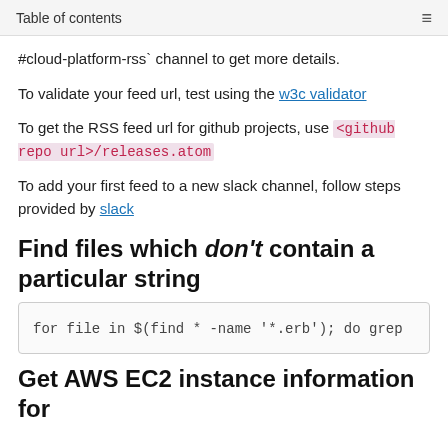Table of contents
#cloud-platform-rss` channel to get more details.
To validate your feed url, test using the w3c validator
To get the RSS feed url for github projects, use <github repo url>/releases.atom
To add your first feed to a new slack channel, follow steps provided by slack
Find files which don't contain a particular string
for file in $(find * -name '*.erb'); do grep
Get AWS EC2 instance information for